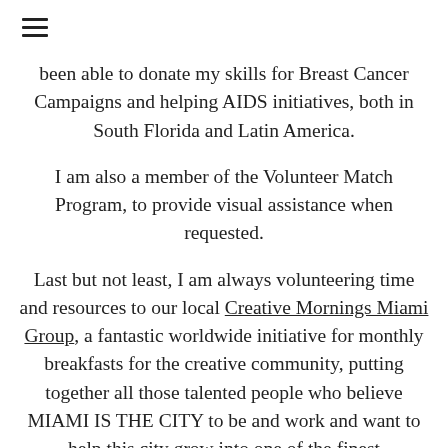≡
been able to donate my skills for Breast Cancer Campaigns and helping AIDS initiatives, both in South Florida and Latin America.
I am also a member of the Volunteer Match Program, to provide visual assistance when requested.
Last but not least, I am always volunteering time and resources to our local Creative Mornings Miami Group, a fantastic worldwide initiative for monthly breakfasts for the creative community, putting together all those talented people who believe MIAMI IS THE CITY to be and work and want to help this city grow into one of the finest